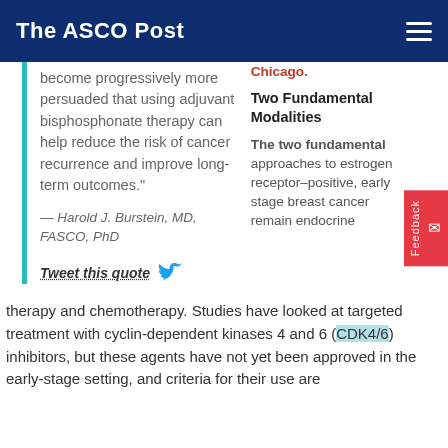The ASCO Post
become progressively more persuaded that using adjuvant bisphosphonate therapy can help reduce the risk of cancer recurrence and improve long-term outcomes."
— Harold J. Burstein, MD, FASCO, PhD
Tweet this quote
Chicago.
Two Fundamental Modalities
The two fundamental approaches to estrogen receptor–positive, early stage breast cancer remain endocrine therapy and chemotherapy. Studies have looked at targeted treatment with cyclin-dependent kinases 4 and 6 (CDK4/6) inhibitors, but these agents have not yet been approved in the early-stage setting, and criteria for their use are